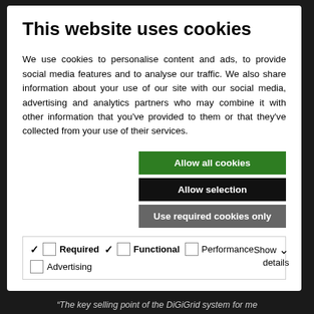This website uses cookies
We use cookies to personalise content and ads, to provide social media features and to analyse our traffic. We also share information about your use of our site with our social media, advertising and analytics partners who may combine it with other information that you've provided to them or that they've collected from your use of their services.
Allow all cookies
Allow selection
Use required cookies only
✔ Required  ✔ Functional  □ Performance  □ Advertising  Show details ∨
“The key selling point of the DiGiGrid system for me